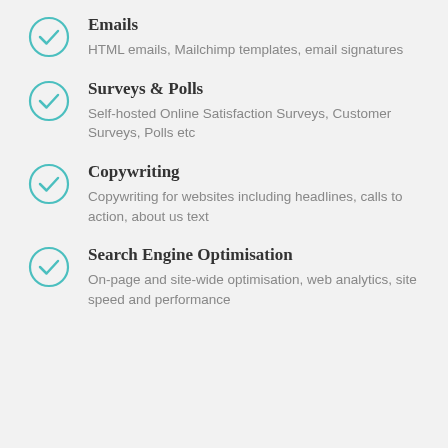Emails
HTML emails, Mailchimp templates, email signatures
Surveys & Polls
Self-hosted Online Satisfaction Surveys, Customer Surveys, Polls etc
Copywriting
Copywriting for websites including headlines, calls to action, about us text
Search Engine Optimisation
On-page and site-wide optimisation, web analytics, site speed and performance